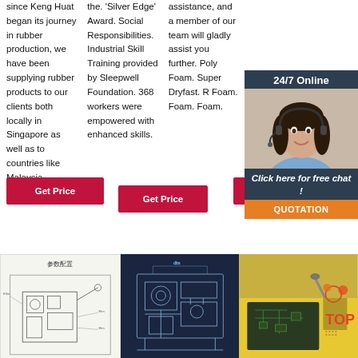since Keng Huat began its journey in rubber production, we have been supplying rubber products to our clients both locally in Singapore as well as to countries like Malaysia ...
the. 'Silver Edge' Award. Social Responsibilities. Industrial Skill Training provided by Sleepwell Foundation. 368 workers were empowered with enhanced skills.
assistance, and a member of our team will gladly assist you further. Poly Foam. Super Dryfast. R Foam. Foam. Foam.
[Figure (other): 24/7 Online chat widget with a woman wearing a headset, and a button: Click here for free chat! QUOTATION]
Get Price
Get Price
Get
[Figure (photo): Technical diagram/schematic of a machine with Chinese text label 参数配置 at top]
[Figure (photo): Technical blueprint/schematic of machinery on dark navy background]
[Figure (photo): Photo of electronics repair/manufacturing workspace with yellow mat and orange TOP logo graphic overlay]